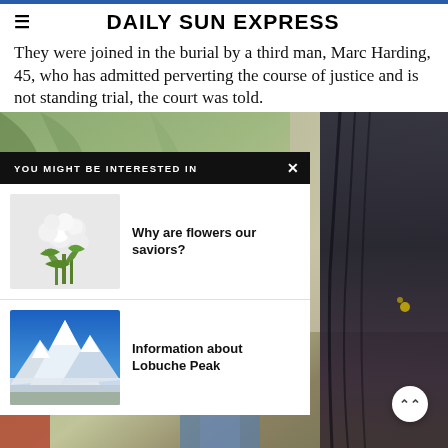DAILY SUN EXPRESS
They were joined in the burial by a third man, Marc Harding, 45, who has admitted perverting the course of justice and is not standing trial, the court was told.
[Figure (photo): Background photo of olive tree branches and leaves, with a dark figure wearing a black covering on the right side.]
YOU MIGHT BE INTERESTED IN
[Figure (photo): Photo of white roses / flower bouquet]
Why are flowers our saviors?
[Figure (photo): Photo of snowy mountain, Lobuche Peak]
Information about Lobuche Peak